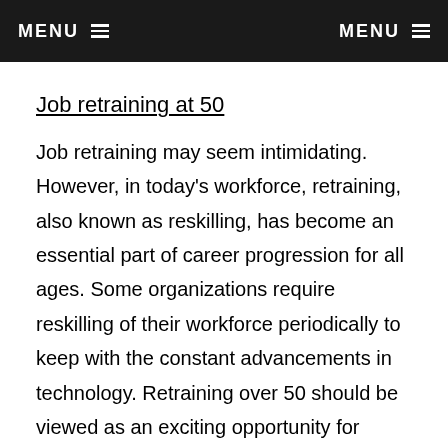MENU  MENU
Job retraining at 50
Job retraining may seem intimidating. However, in today's workforce, retraining, also known as reskilling, has become an essential part of career progression for all ages. Some organizations require reskilling of their workforce periodically to keep with the constant advancements in technology. Retraining over 50 should be viewed as an exciting opportunity for career progression, whether it is required, for a promotion, or a lateral move.